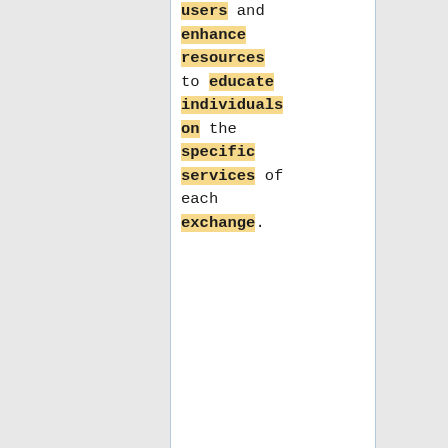users and enhance resources to educate individuals on the specific services of each exchange.
A memorandum of understanding (MOU) is a legal agreement between two parties that carries